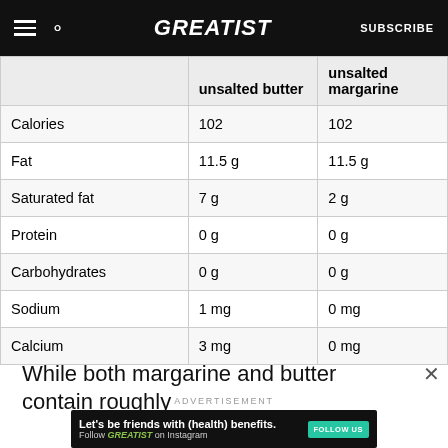GREATIST | SUBSCRIBE
|  | unsalted butter | unsalted margarine |
| --- | --- | --- |
| Calories | 102 | 102 |
| Fat | 11.5 g | 11.5 g |
| Saturated fat | 7 g | 2 g |
| Protein | 0 g | 0 g |
| Carbohydrates | 0 g | 0 g |
| Sodium | 1 mg | 0 mg |
| Calcium | 3 mg | 0 mg |
While both margarine and butter contain roughly
ADVERTISEMENT
Let's be friends with (health) benefits. Follow GREATIST on Instagram FOLLOW US